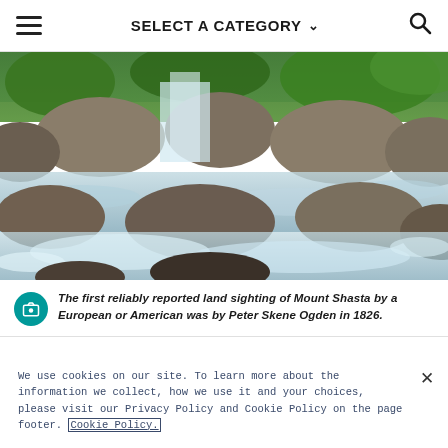SELECT A CATEGORY
[Figure (photo): Waterfall and rocky river stream with green vegetation in the background, flowing white water cascading over large boulders]
The first reliably reported land sighting of Mount Shasta by a European or American was by Peter Skene Ogden in 1826.
We use cookies on our site. To learn more about the information we collect, how we use it and your choices, please visit our Privacy Policy and Cookie Policy on the page footer. Cookie Policy.